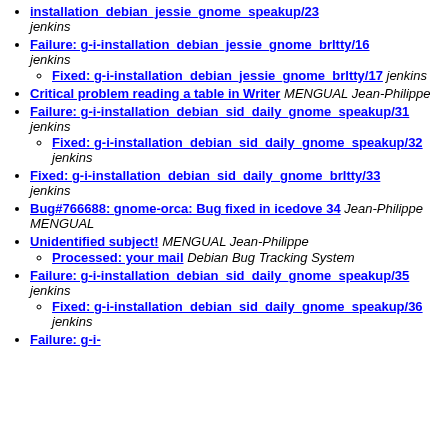installation_debian_jessie_gnome_speakup/23 jenkins
Failure: g-i-installation_debian_jessie_gnome_brltty/16 jenkins
Fixed: g-i-installation_debian_jessie_gnome_brltty/17 jenkins
Critical problem reading a table in Writer MENGUAL Jean-Philippe
Failure: g-i-installation_debian_sid_daily_gnome_speakup/31 jenkins
Fixed: g-i-installation_debian_sid_daily_gnome_speakup/32 jenkins
Fixed: g-i-installation_debian_sid_daily_gnome_brltty/33 jenkins
Bug#766688: gnome-orca: Bug fixed in icedove 34 Jean-Philippe MENGUAL
Unidentified subject! MENGUAL Jean-Philippe
Processed: your mail Debian Bug Tracking System
Failure: g-i-installation_debian_sid_daily_gnome_speakup/35 jenkins
Fixed: g-i-installation_debian_sid_daily_gnome_speakup/36 jenkins
Failure: g-i-